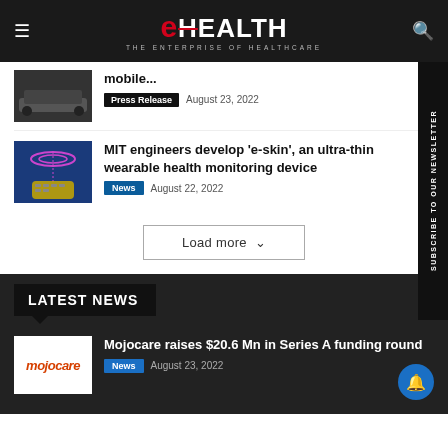eHEALTH — THE ENTERPRISE OF HEALTHCARE
mobile...
Press Release   August 23, 2022
[Figure (photo): Dark image of a vehicle or robot on a floor]
[Figure (photo): e-skin wearable device on a hand with holographic ring above, blue background]
MIT engineers develop 'e-skin', an ultra-thin wearable health monitoring device
News   August 22, 2022
Load more
LATEST NEWS
[Figure (logo): Mojocare logo in red italic text on white background]
Mojocare raises $20.6 Mn in Series A funding round
News   August 23, 2022